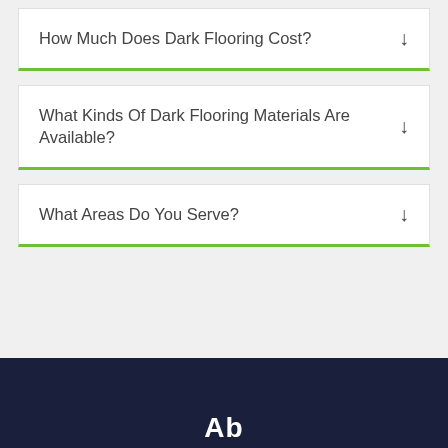How Much Does Dark Flooring Cost?
What Kinds Of Dark Flooring Materials Are Available?
What Areas Do You Serve?
Ab...